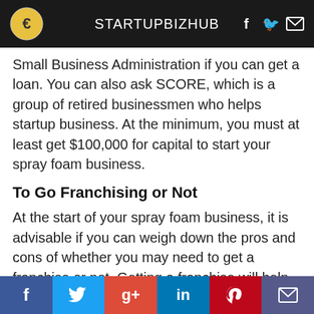STARTUPBIZHUB
Small Business Administration if you can get a loan. You can also ask SCORE, which is a group of retired businessmen who helps startup business. At the minimum, you must at least get $100,000 for capital to start your spray foam business.
To Go Franchising or Not
At the start of your spray foam business, it is advisable if you can weigh down the pros and cons of whether you may need to get a franchise or not. Getting a franchise will help you with training and promotion. Yet, since this kind of business is he…itional